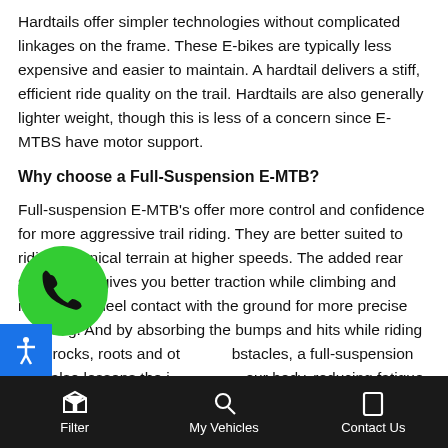Hardtails offer simpler technologies without complicated linkages on the frame. These E-bikes are typically less expensive and easier to maintain. A hardtail delivers a stiff, efficient ride quality on the trail. Hardtails are also generally lighter weight, though this is less of a concern since E-MTBS have motor support.
Why choose a Full-Suspension E-MTB?
Full-suspension E-MTB's offer more control and confidence for more aggressive trail riding. They are better suited to riding technical terrain at higher speeds. The added rear suspension gives you better traction while climbing and improved wheel contact with the ground for more precise handling. And by absorbing the bumps and hits while riding over rocks, roots and other obstacles, a full-suspension bike also lessens the impact on your body, reducing fatigue on more challenging rides.
Filter   My Vehicles   Contact Us